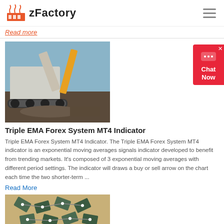zFactory
Read more
[Figure (photo): Heavy industrial machinery - crusher/excavator equipment on construction site]
Triple EMA Forex System MT4 Indicator
Triple EMA Forex System MT4 Indicator. The Triple EMA Forex System MT4 indicator is an exponential moving averages signals indicator developed to benefit from trending markets. It's composed of 3 exponential moving averages with different period settings. The indicator will draws a buy or sell arrow on the chart each time the two shorter-term ...
Read More
[Figure (photo): Industrial mining or processing equipment aerial view]